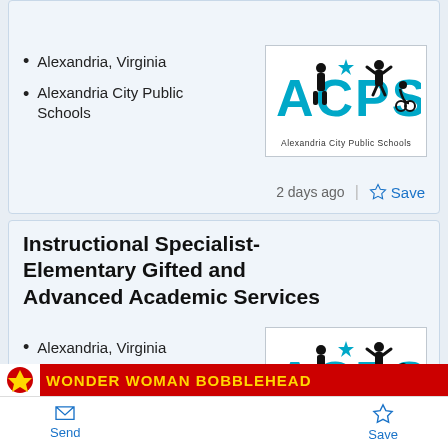Leadership
Alexandria, Virginia
Alexandria City Public Schools
[Figure (logo): Alexandria City Public Schools logo with ACPS letters and silhouettes of students]
2 days ago
Save
Instructional Specialist- Elementary Gifted and Advanced Academic Services
Alexandria, Virginia
Alexandria City Public Schools
[Figure (logo): Alexandria City Public Schools logo with ACPS letters and silhouettes of students]
[Figure (other): Wonder Woman Bobblehead advertisement banner in red with yellow text]
Send  Save